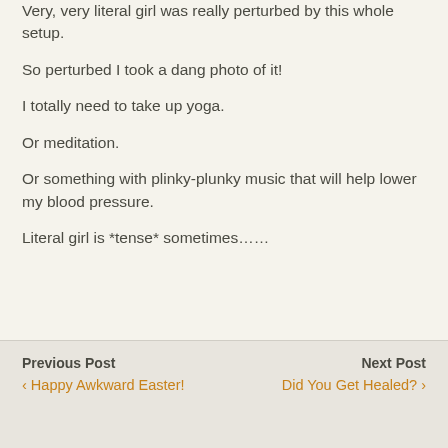Very, very literal girl was really perturbed by this whole setup.
So perturbed I took a dang photo of it!
I totally need to take up yoga.
Or meditation.
Or something with plinky-plunky music that will help lower my blood pressure.
Literal girl is *tense* sometimes……
Previous Post ‹ Happy Awkward Easter!    Next Post Did You Get Healed? ›